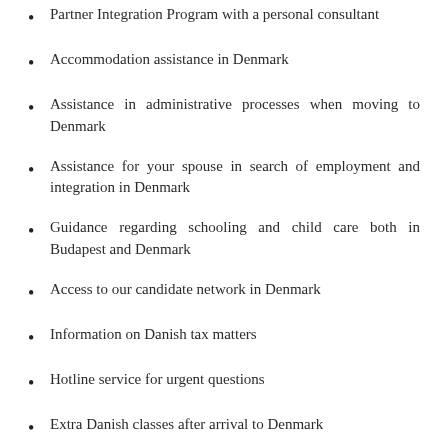Partner Integration Program with a personal consultant
Accommodation assistance in Denmark
Assistance in administrative processes when moving to Denmark
Assistance for your spouse in search of employment and integration in Denmark
Guidance regarding schooling and child care both in Budapest and Denmark
Access to our candidate network in Denmark
Information on Danish tax matters
Hotline service for urgent questions
Extra Danish classes after arrival to Denmark
Coaching and re-education and administrative integration…